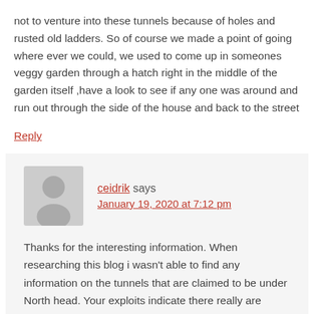not to venture into these tunnels because of holes and rusted old ladders. So of course we made a point of going where ever we could, we used to come up in someones veggy garden through a hatch right in the middle of the garden itself ,have a look to see if any one was around and run out through the side of the house and back to the street
Reply
ceidrik says January 19, 2020 at 7:12 pm
Thanks for the interesting information. When researching this blog i wasn't able to find any information on the tunnels that are claimed to be under North head. Your exploits indicate there really are hidden tunnels there.